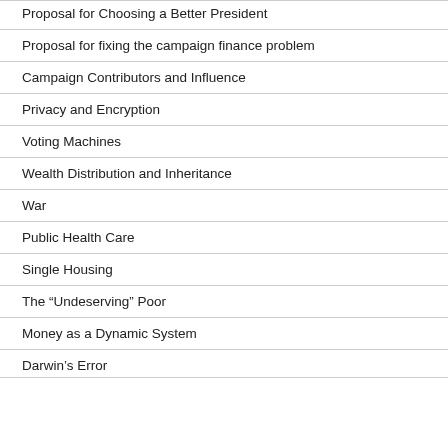Proposal for Choosing a Better President
Proposal for fixing the campaign finance problem
Campaign Contributors and Influence
Privacy and Encryption
Voting Machines
Wealth Distribution and Inheritance
War
Public Health Care
Single Housing
The “Undeserving” Poor
Money as a Dynamic System
Darwin’s Error